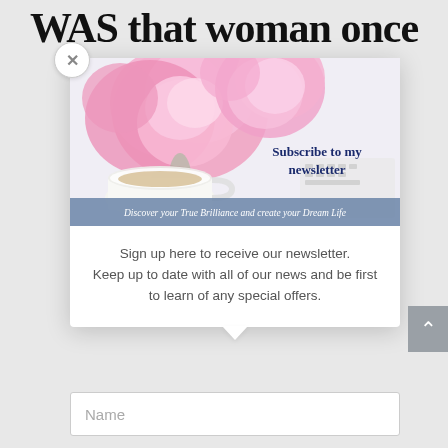WAS that woman once
[Figure (illustration): Newsletter subscription banner with pink peonies, coffee cup, keyboard. Text overlay: 'Subscribe to my newsletter' and 'Discover your True Brilliance and create your Dream Life']
Sign up here to receive our newsletter. Keep up to date with all of our news and be first to learn of any special offers.
Name